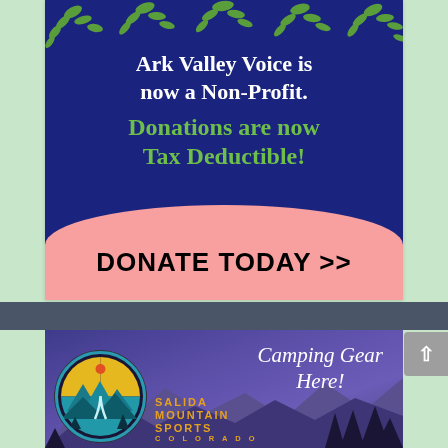[Figure (infographic): Ark Valley Voice non-profit donation advertisement. Dark blue background with green leaf decorations at top. White text: 'Ark Valley Voice is now a Non-Profit.' Green bold text: 'Donations are now Tax Deductible!' Pink curved section at bottom with bold black text: 'DONATE TODAY >>']
[Figure (infographic): Salida Mountain Sports advertisement. Purple mountain background with silhouette trees. Circular logo with mountains and sun. White italic text: 'Camping Gear Here!' Gold/orange text: 'SALIDA MOUNTAIN SPORTS COLORADO']